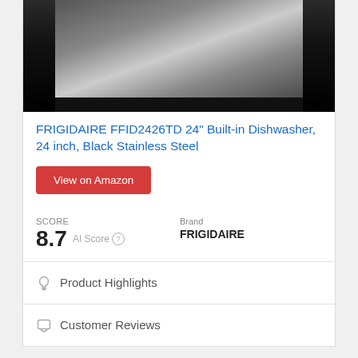[Figure (photo): Product photo of FRIGIDAIRE FFID2426TD dishwasher in black stainless steel finish, showing the front panel and upper portion of the appliance against a dark background.]
FRIGIDAIRE FFID2426TD 24" Built-in Dishwasher, 24 inch, Black Stainless Steel
View on Amazon
SCORE
8.7 AI Score
Brand
FRIGIDAIRE
Product Highlights
Customer Reviews